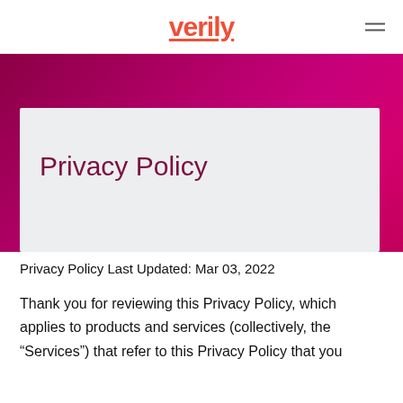verily
Privacy Policy
Privacy Policy Last Updated: Mar 03, 2022
Thank you for reviewing this Privacy Policy, which applies to products and services (collectively, the “Services”) that refer to this Privacy Policy that you